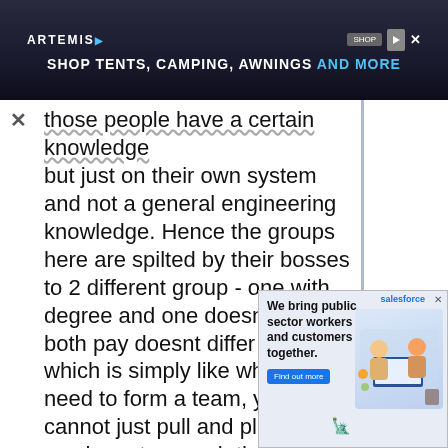[Figure (screenshot): Advertisement banner for Artemis: 'SHOP TENTS, CAMPING, AWNINGS AND MORE' on dark background]
those people have a certain knowledge but just on their own system and not a general engineering knowledge. Hence the groups here are spilted by their bosses to 2 different group - one with degree and one doesnt and both pay doesnt differ much. which is simply like when you need to form a team, you cannot just pull and pluck in, you have to search those with the relevant qualifications and often they had difficulty doing so. I dont mean you dont have degree then you are not good, what I mean is the old ones and those keep promoted (despite w/o qualifications) built an environment letting the newcomers to think that upgrading is needed and engineering job aren't hard and i can still keep promoted despite i lack the fundermental. Also, by doing so,
[Figure (screenshot): Salesforce advertisement overlay: 'We bring public sector workers and customers together.' with Find out more button and image of people working together]